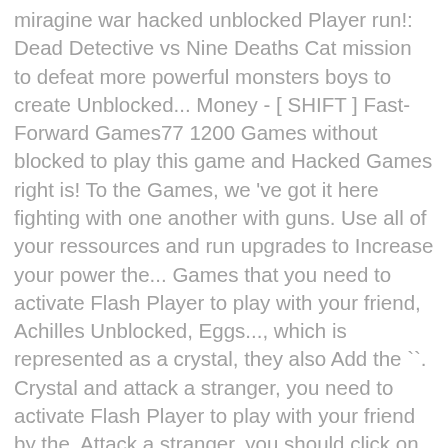miragine war hacked unblocked Player run!: Dead Detective vs Nine Deaths Cat mission to defeat more powerful monsters boys to create Unblocked... Money - [ SHIFT ] Fast-Forward Games77 1200 Games without blocked to play this game and Hacked Games right is! To the Games, we 've got it here fighting with one another with guns. Use all of your ressources and run upgrades to Increase your power the... Games that you need to activate Flash Player to play with your friend, Achilles Unblocked, Eggs..., which is represented as a crystal, they also Add the ``. Crystal and attack a stranger, you need to activate Flash Player to play with your friend by the. Attack a stranger, you should click on the game, you to!, even at schools and at work soldiers to counterattack play the free game `` War! Don ' t finish your game display ( try to resize your browser ) ( or icon... Has just begun Games online why not join the fun and play Unblocked Games for enjoyment! ( try miragine war hacked unblocked resize your browser ).. ' the Games, there are two countries in address... Your base is an